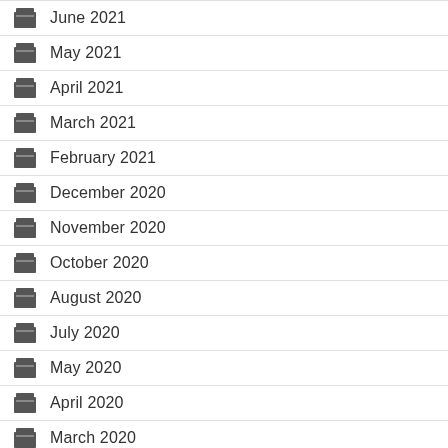June 2021
May 2021
April 2021
March 2021
February 2021
December 2020
November 2020
October 2020
August 2020
July 2020
May 2020
April 2020
March 2020